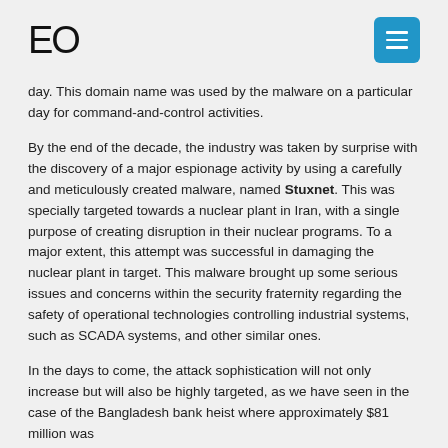EO
day. This domain name was used by the malware on a particular day for command-and-control activities.
By the end of the decade, the industry was taken by surprise with the discovery of a major espionage activity by using a carefully and meticulously created malware, named Stuxnet. This was specially targeted towards a nuclear plant in Iran, with a single purpose of creating disruption in their nuclear programs. To a major extent, this attempt was successful in damaging the nuclear plant in target. This malware brought up some serious issues and concerns within the security fraternity regarding the safety of operational technologies controlling industrial systems, such as SCADA systems, and other similar ones.
In the days to come, the attack sophistication will not only increase but will also be highly targeted, as we have seen in the case of the Bangladesh bank heist where approximately $81 million was